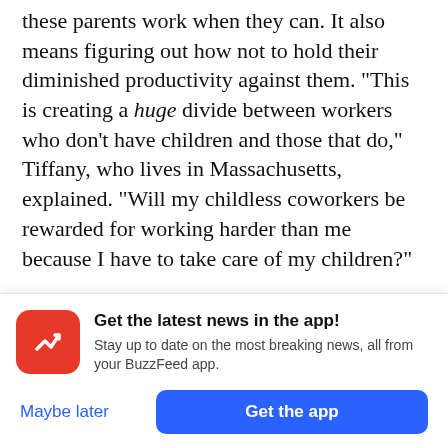these parents work when they can. It also means figuring out how not to hold their diminished productivity against them. “This is creating a huge divide between workers who don’t have children and those that do,” Tiffany, who lives in Massachusetts, explained. “Will my childless coworkers be rewarded for working harder than me because I have to take care of my children?”

If you’re a manager — with or without kids — the one really significant thing you can do right now for the people you manage is tell them that the answer...
[Figure (other): BuzzFeed app notification overlay with red rounded square icon containing white arrow/trend logo, bold text 'Get the latest news in the app!', subtext 'Stay up to date on the most breaking news, all from your BuzzFeed app.', and two buttons: 'Maybe later' (blue text) and 'Get the app' (blue rounded rectangle button).]